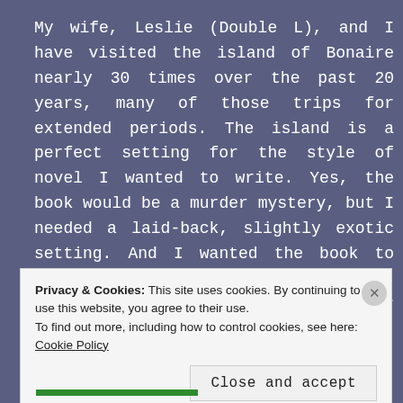My wife, Leslie (Double L), and I have visited the island of Bonaire nearly 30 times over the past 20 years, many of those trips for extended periods. The island is a perfect setting for the style of novel I wanted to write. Yes, the book would be a murder mystery, but I needed a laid-back, slightly exotic setting. And I wanted the book to partially center around scuba diving, an activity Les and I enjoy together as often as possible.
Privacy & Cookies: This site uses cookies. By continuing to use this website, you agree to their use.
To find out more, including how to control cookies, see here: Cookie Policy
Close and accept